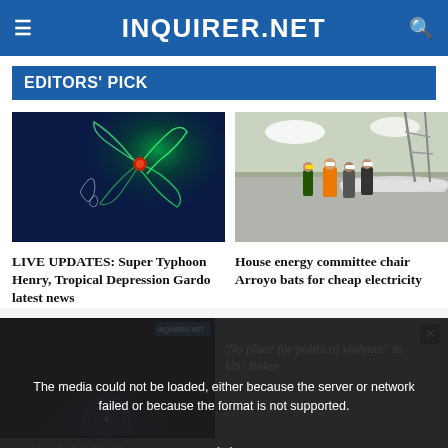INQUIRER.NET
EDITORS' PICK
[Figure (photo): Satellite/radar image of a typhoon swirling over the Philippines in blue and green tones]
LIVE UPDATES: Super Typhoon Henry, Tropical Depression Gardo latest news
[Figure (photo): Construction workers in hard hats and orange vests walking along a highway infrastructure site]
House energy committee chair Arroyo bats for cheap electricity
[Figure (screenshot): Video player showing 'NO PLACE FOR POLITICAL VIOLENCE IN US: BIDEN' with media error overlay]
The media could not be loaded, either because the server or network failed or because the format is not supported.
'No place for political violence' in US: Biden